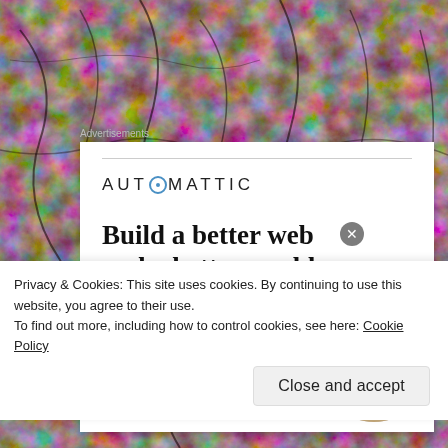[Figure (photo): Dark red cracked leather or organic texture background filling the entire page]
Advertisements
[Figure (illustration): Automattic advertisement card on white background with logo, headline 'Build a better web and a better world.', Apply button, and a circular portrait photo of a person]
Privacy & Cookies: This site uses cookies. By continuing to use this website, you agree to their use.
To find out more, including how to control cookies, see here: Cookie Policy
Close and accept